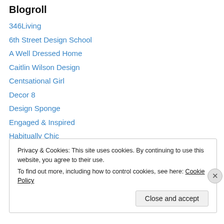Blogroll
346Living
6th Street Design School
A Well Dressed Home
Caitlin Wilson Design
Centsational Girl
Decor 8
Design Sponge
Engaged & Inspired
Habitually Chic
House and Home
Made By Girl
The Decorista
Privacy & Cookies: This site uses cookies. By continuing to use this website, you agree to their use. To find out more, including how to control cookies, see here: Cookie Policy
Close and accept